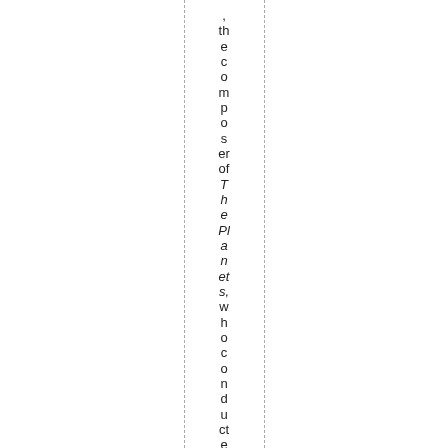, the composer of The Planets, who conducted